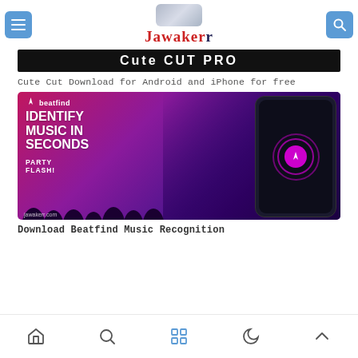Jawakerr
[Figure (screenshot): Cute CUT PRO banner - black background with white bold uppercase text reading 'Cute CUT PRO']
Cute Cut Download for Android and iPhone for free
[Figure (screenshot): Beatfind app promotional image on pink/purple gradient background with text 'IDENTIFY MUSIC IN SECONDS' and 'PARTY FLASH!' with smartphone and lightning bolt icon. beatfind logo top left. jawakerr.com watermark bottom left.]
Download Beatfind Music Recognition
Navigation bar with home, search, apps, moon, and up-arrow icons